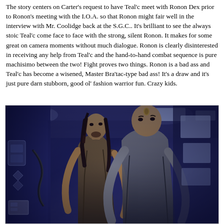The story centers on Carter's request to have Teal'c meet with Ronon Dex prior to Ronon's meeting with the I.O.A. so that Ronon might fair well in the interview with Mr. Coolidge back at the S.G.C.. It's brilliant to see the always stoic Teal'c come face to face with the strong, silent Ronon. It makes for some great on camera moments without much dialogue. Ronon is clearly disinterested in receiving any help from Teal'c and the hand-to-hand combat sequence is pure machisimo between the two! Fight proves two things. Ronon is a bad ass and Teal'c has become a wisened, Master Bra'tac-type bad ass! It's a draw and it's just pure darn stubborn, good ol' fashion warrior fun. Crazy kids.
[Figure (photo): Two male characters from a sci-fi show standing in a blue-tinted room with sci-fi set elements. The man on the left has long dark hair and is wearing a leather vest. The man on the right is larger with shorter hair and wearing a sleeveless outfit. Both are looking forward with serious expressions. The scene is bathed in a blue/purple light reminiscent of a spacecraft interior.]